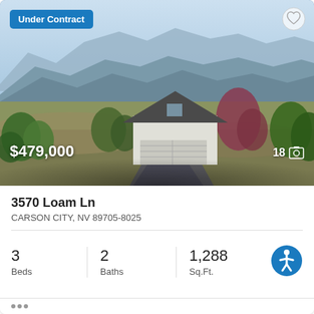[Figure (photo): Aerial/drone photo of a house with mountains and blue sky in background, trees surrounding the property, two-car garage visible]
Under Contract
$479,000
18
3570 Loam Ln
CARSON CITY, NV 89705-8025
3 Beds
2 Baths
1,288 Sq.Ft.